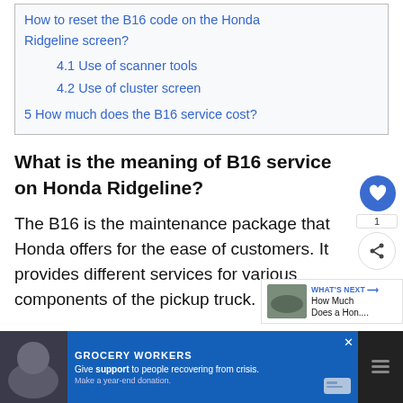4.1 Use of scanner tools
4.2 Use of cluster screen
5 How much does the B16 service cost?
What is the meaning of B16 service on Honda Ridgeline?
The B16 is the maintenance package that Honda offers for the ease of customers. It provides different services for various components of the pickup truck.